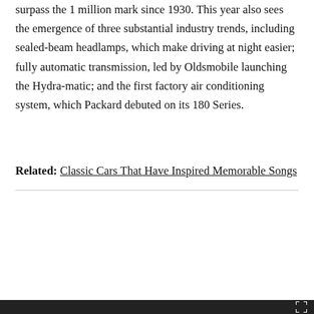surpass the 1 million mark since 1930. This year also sees the emergence of three substantial industry trends, including sealed-beam headlamps, which make driving at night easier; fully automatic transmission, led by Oldsmobile launching the Hydra-matic; and the first factory air conditioning system, which Packard debuted on its 180 Series.
Related: Classic Cars That Have Inspired Memorable Songs
[Figure (screenshot): Video ad overlay showing a person standing next to a car, with text 'Ad 1 of 1 (0:15)' and 'Up Next - Video of the Day: - 24 Hours With Coco Gauff As She Prepares for the Atlanta Open']